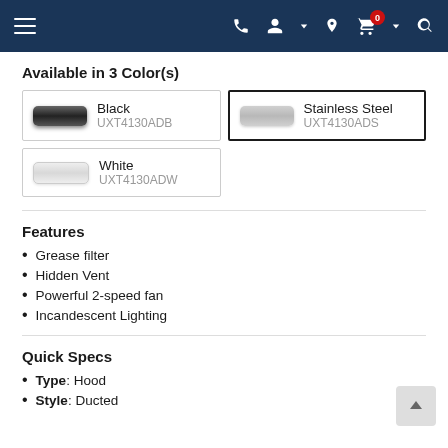Navigation bar with hamburger menu, phone, account, location, cart (0), and search icons
Available in 3 Color(s)
Black
UXT4130ADB
Stainless Steel
UXT4130ADS
White
UXT4130ADW
Features
Grease filter
Hidden Vent
Powerful 2-speed fan
Incandescent Lighting
Quick Specs
Type: Hood
Style: Ducted